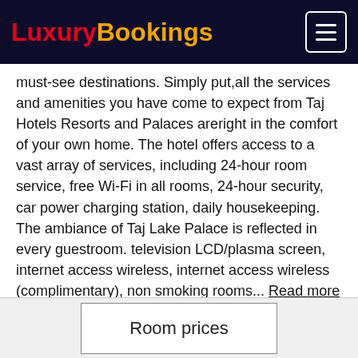LuxuryBookings
must-see destinations. Simply put,all the services and amenities you have come to expect from Taj Hotels Resorts and Palaces areright in the comfort of your own home. The hotel offers access to a vast array of services, including 24-hour room service, free Wi-Fi in all rooms, 24-hour security, car power charging station, daily housekeeping. The ambiance of Taj Lake Palace is reflected in every guestroom. television LCD/plasma screen, internet access wireless, internet access wireless (complimentary), non smoking rooms... Read more
Room prices